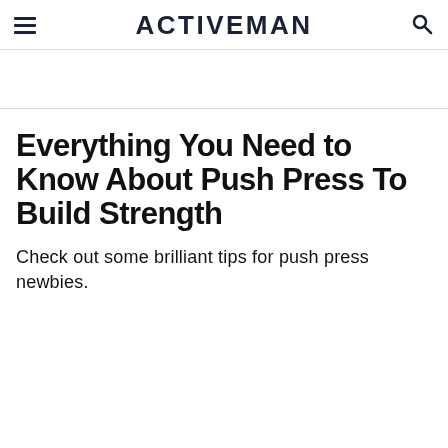ACTIVEMAN
Everything You Need to Know About Push Press To Build Strength
Check out some brilliant tips for push press newbies.